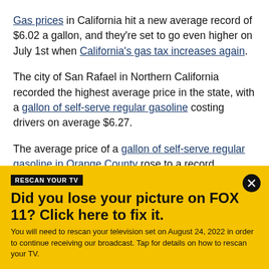Gas prices in California hit a new average record of $6.02 a gallon, and they're set to go even higher on July 1st when California's gas tax increases again.
The city of San Rafael in Northern California recorded the highest average price in the state, with a gallon of self-serve regular gasoline costing drivers on average $6.27.
The average price of a gallon of self-serve regular gasoline in Orange County rose to a record Tuesday
[Figure (infographic): Yellow banner advertisement: 'RESCAN YOUR TV' tag, headline 'Did you lose your picture on FOX 11? Click here to fix it.' with body text about rescanning TV on August 24, 2022.]